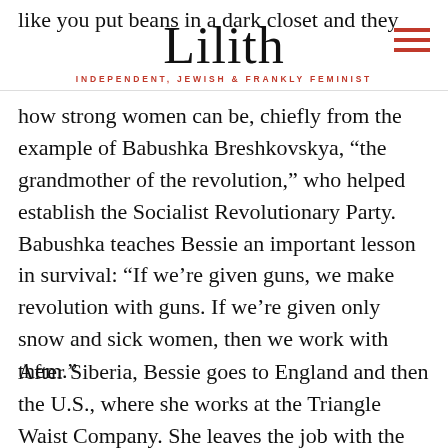like you put beans in a dark closet and they
Lilith
INDEPENDENT, JEWISH & FRANKLY FEMINIST
how strong women can be, chiefly from the example of Babushka Breshkovskya, “the grandmother of the revolution,” who helped establish the Socialist Revolutionary Party. Babushka teaches Bessie an important lesson in survival: “If we’re given guns, we make revolution with guns. If we’re given only snow and sick women, then we work with them.”
After Siberia, Bessie goes to England and then the U.S., where she works at the Triangle Waist Company. She leaves the job with the